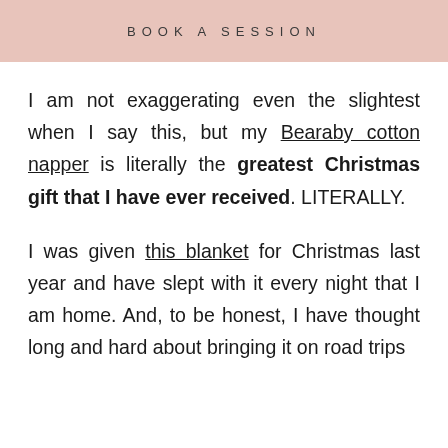BOOK A SESSION
I am not exaggerating even the slightest when I say this, but my Bearaby cotton napper is literally the greatest Christmas gift that I have ever received. LITERALLY.
I was given this blanket for Christmas last year and have slept with it every night that I am home. And, to be honest, I have thought long and hard about bringing it on road trips